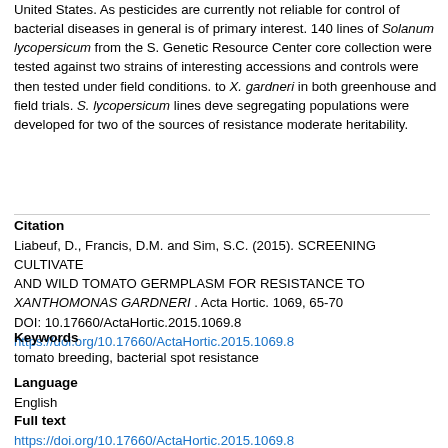United States. As pesticides are currently not reliable for control of bacterial diseases in general is of primary interest. 140 lines of Solanum lycopersicum from the S. Genetic Resource Center core collection were tested against two strains of interesting accessions and controls were then tested under field conditions. to X. gardneri in both greenhouse and field trials. S. lycopersicum lines deve segregating populations were developed for two of the sources of resistance moderate heritability.
Citation
Liabeuf, D., Francis, D.M. and Sim, S.C. (2015). SCREENING CULTIVATED AND WILD TOMATO GERMPLASM FOR RESISTANCE TO XANTHOMONAS GARDNERI . Acta Hortic. 1069, 65-70 DOI: 10.17660/ActaHortic.2015.1069.8 https://doi.org/10.17660/ActaHortic.2015.1069.8
Keywords
tomato breeding, bacterial spot resistance
Language
English
Full text
https://doi.org/10.17660/ActaHortic.2015.1069.8